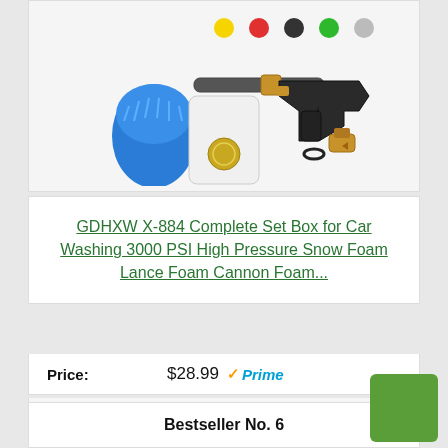[Figure (photo): Product photo of GDHXW X-884 car washing set including snow foam lance, foam cannon, pressure washer gun, blue wash mitt, colored nozzle tips, brass adapter fitting, and O-ring]
GDHXW X-884 Complete Set Box for Car Washing 3000 PSI High Pressure Snow Foam Lance Foam Cannon Foam...
Price: $28.99 ✓Prime
Buy on Amazon
Bestseller No. 6